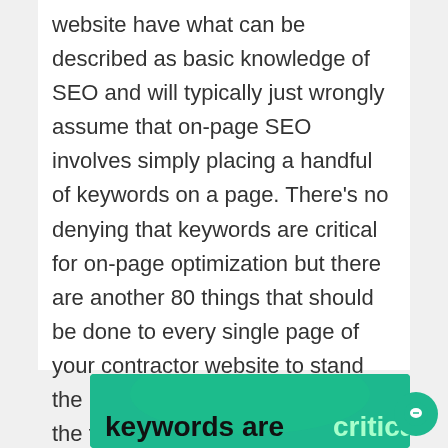website have what can be described as basic knowledge of SEO and will typically just wrongly assume that on-page SEO involves simply placing a handful of keywords on a page. There's no denying that keywords are critical for on-page optimization but there are another 80 things that should be done to every single page of your contractor website to stand the best chance at getting listed in the top of the Organic listings.
[Figure (infographic): Green banner with text 'keywords are critical' in black and green colors]